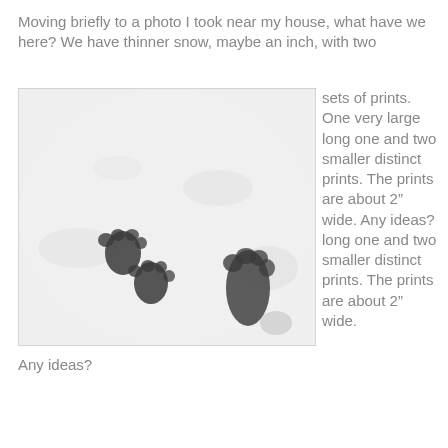Moving briefly to a photo I took near my house, what have we here? We have thinner snow, maybe an inch, with two sets of prints. One very large long one and two smaller distinct prints. The prints are about 2” wide. Any ideas? long one and two smaller distinct prints. The prints are about 2” wide.
[Figure (photo): Close-up photograph of animal tracks in thin snow, showing several paw prints: two smaller distinct prints on the left side and one larger elongated print on the right side. The snow is shallow, about an inch deep, on a white background.]
Any ideas?